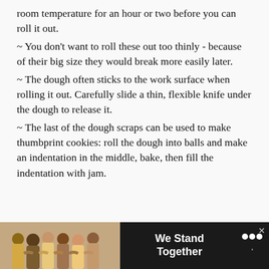room temperature for an hour or two before you can roll it out.
~ You don’t want to roll these out too thinly - because of their big size they would break more easily later.
~ The dough often sticks to the work surface when rolling it out. Carefully slide a thin, flexible knife under the dough to release it.
~ The last of the dough scraps can be used to make thumbprint cookies: roll the dough into balls and make an indentation in the middle, bake, then fill the indentation with jam.
[Figure (advertisement): Dark background advertisement banner with group photo of people with arms around each other and text 'We Stand Together']